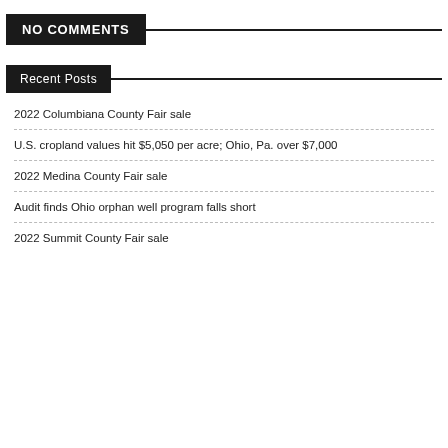NO COMMENTS
Recent Posts
2022 Columbiana County Fair sale
U.S. cropland values hit $5,050 per acre; Ohio, Pa. over $7,000
2022 Medina County Fair sale
Audit finds Ohio orphan well program falls short
2022 Summit County Fair sale